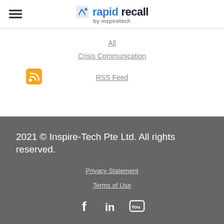rapid recall by inspiretech
All
Crisis Communication
RSS Feed
2021 © Inspire-Tech Pte Ltd. All rights reserved.
Privacy Statement
Terms of Use